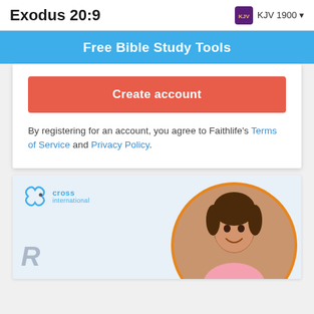Exodus 20:9  KJV 1900
Free Bible Study Tools
Create account
By registering for an account, you agree to Faithlife's Terms of Service and Privacy Policy.
[Figure (photo): Cross International advertisement banner with logo and photo of a smiling young girl in a pink top, with orange circular border]